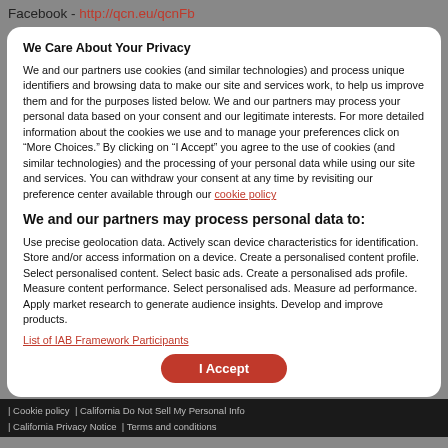Facebook - http://qcn.eu/qcnFb
We Care About Your Privacy
We and our partners use cookies (and similar technologies) and process unique identifiers and browsing data to make our site and services work, to help us improve them and for the purposes listed below. We and our partners may process your personal data based on your consent and our legitimate interests. For more detailed information about the cookies we use and to manage your preferences click on “More Choices.” By clicking on “I Accept” you agree to the use of cookies (and similar technologies) and the processing of your personal data while using our site and services. You can withdraw your consent at any time by revisiting our preference center available through our cookie policy
We and our partners may process personal data to:
Use precise geolocation data. Actively scan device characteristics for identification. Store and/or access information on a device. Create a personalised content profile. Select personalised content. Select basic ads. Create a personalised ads profile. Measure content performance. Select personalised ads. Measure ad performance. Apply market research to generate audience insights. Develop and improve products.
List of IAB Framework Participants
I Accept
Cookie policy | California Do Not Sell My Personal Info | California Privacy Notice | Terms and conditions